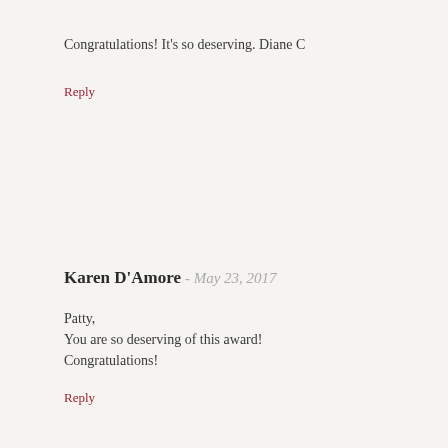Congratulations! It's so deserving. Diane C
Reply
Karen D'Amore - May 23, 2017
Patty,
You are so deserving of this award!
Congratulations!
Reply